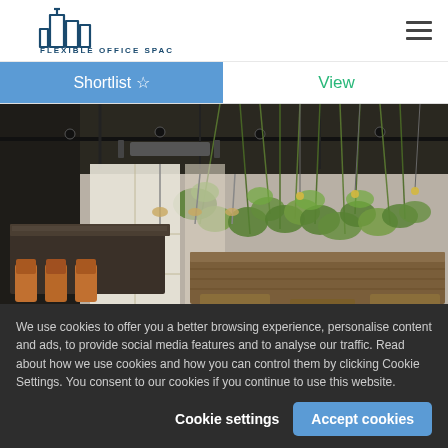FLEXIBLE OFFICE SPACE
Shortlist ☆
View
[Figure (photo): Interior of a modern co-working office space with hanging green plants from the ceiling, wooden bench seating, a dark bar counter on the left with orange chairs, and large windows providing natural light.]
We use cookies to offer you a better browsing experience, personalise content and ads, to provide social media features and to analyse our traffic. Read about how we use cookies and how you can control them by clicking Cookie Settings. You consent to our cookies if you continue to use this website.
Cookie settings
Accept cookies